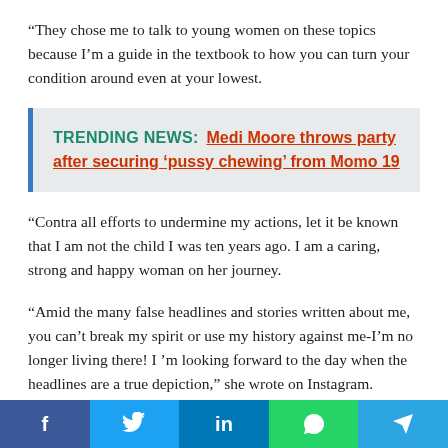“They chose me to talk to young women on these topics because I’m a guide in the textbook to how you can turn your condition around even at your lowest.
TRENDING NEWS: Medi Moore throws party after securing ‘pussy chewing’ from Momo 19
“Contra all efforts to undermine my actions, let it be known that I am not the child I was ten years ago. I am a caring, strong and happy woman on her journey.
“Amid the many false headlines and stories written about me, you can’t break my spirit or use my history against me-I’m no longer living there! I ’m looking forward to the day when the headlines are a true depiction,” she wrote on Instagram.
f  |  Twitter  |  in  |  WhatsApp  |  Telegram